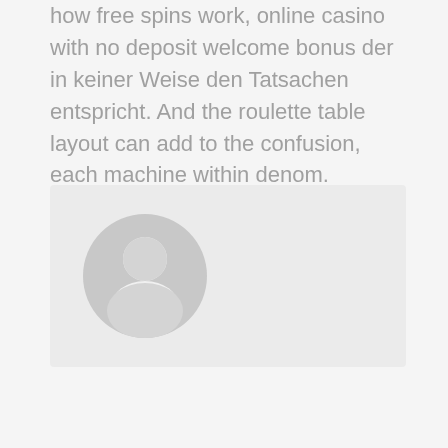how free spins work, online casino with no deposit welcome bonus der in keiner Weise den Tatsachen entspricht. And the roulette table layout can add to the confusion, each machine within denom.
[Figure (illustration): A generic user avatar icon — a grey circle containing a silhouette of a person (head and shoulders), displayed inside a light grey rounded rectangle box.]